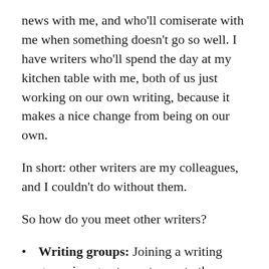news with me, and who'll comiserate with me when something doesn't go so well. I have writers who'll spend the day at my kitchen table with me, both of us just working on our own writing, because it makes a nice change from being on our own.
In short: other writers are my colleagues, and I couldn't do without them.
So how do you meet other writers?
Writing groups: Joining a writing group is a great way to meet other writers – particularly if it's the right sort of group for you. Try to find a group of people at a